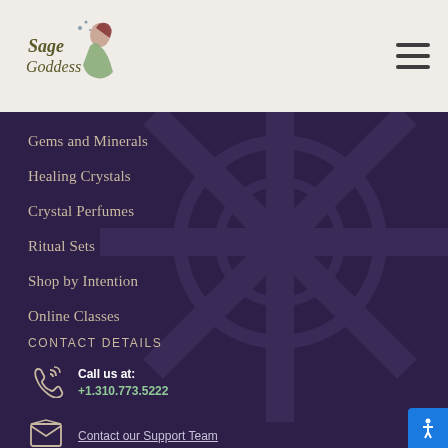[Figure (logo): Sage Goddess logo with illustrated woman in green dress and decorative script text]
[Figure (other): Hamburger menu icon with three horizontal lines]
Gems and Minerals
Healing Crystals
Crystal Perfumes
Ritual Sets
Shop by Intention
Online Classes
CONTACT DETAILS
Call us at:
+1.310.773.5222
Contact our Support Team